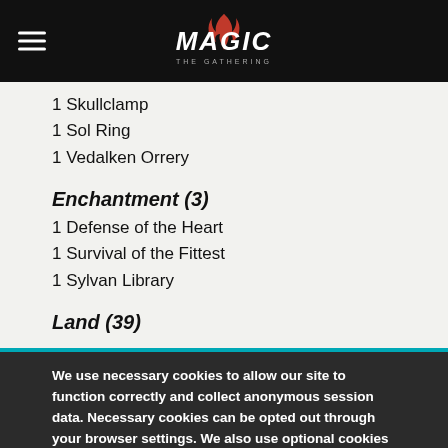Magic: The Gathering
1 Skullclamp
1 Sol Ring
1 Vedalken Orrery
Enchantment (3)
1 Defense of the Heart
1 Survival of the Fittest
1 Sylvan Library
Land (39)
We use necessary cookies to allow our site to function correctly and collect anonymous session data. Necessary cookies can be opted out through your browser settings. We also use optional cookies to personalize content and ads, provide social medial features and analyze web traffic. By clicking “OK, I agree,” you consent to optional cookies. (Learn more about cookies.)
OK, I agree | No, thanks